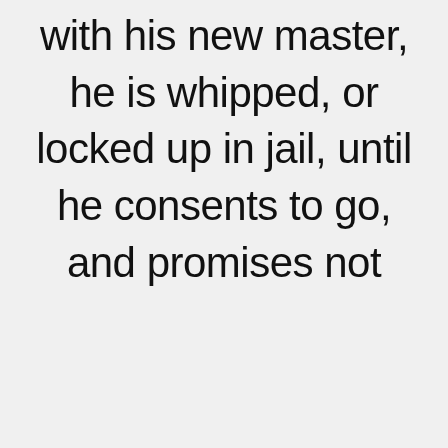with his new master, he is whipped, or locked up in jail, until he consents to go, and promises not
[Figure (screenshot): An advertisement overlay. Infolinks bar at top-left. Nike ad with shoe image, title 'Nike. Just Do It', description 'Inspiring the world's athletes, Nike delivers the deals', URL 'www.nike.com', blue arrow button on right, close X button.]